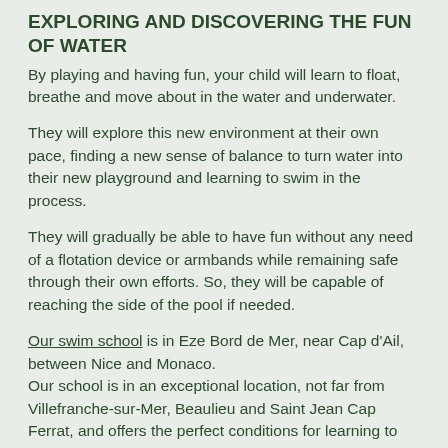EXPLORING AND DISCOVERING THE FUN OF WATER
By playing and having fun, your child will learn to float, breathe and move about in the water and underwater.
They will explore this new environment at their own pace, finding a new sense of balance to turn water into their new playground and learning to swim in the process.
They will gradually be able to have fun without any need of a flotation device or armbands while remaining safe through their own efforts. So, they will be capable of reaching the side of the pool if needed.
Our swim school is in Eze Bord de Mer, near Cap d'Ail, between Nice and Monaco. Our school is in an exceptional location, not far from Villefranche-sur-Mer, Beaulieu and Saint Jean Cap Ferrat, and offers the perfect conditions for learning to swim.